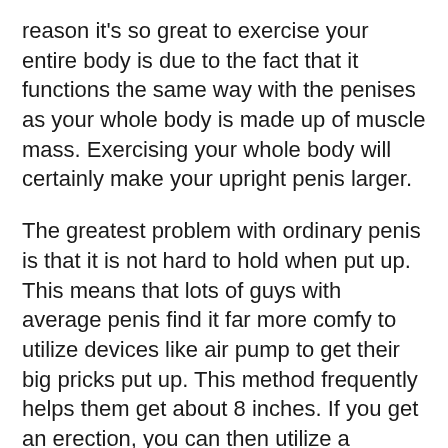reason it's so great to exercise your entire body is due to the fact that it functions the same way with the penises as your whole body is made up of muscle mass. Exercising your whole body will certainly make your upright penis larger.
The greatest problem with ordinary penis is that it is not hard to hold when put up. This means that lots of guys with average penis find it far more comfy to utilize devices like air pump to get their big pricks put up. This method frequently helps them get about 8 inches. If you get an erection, you can then utilize a vacuum to draw the blood from your origin to your head. This must offer you an optimum of eighteen inches when erect.